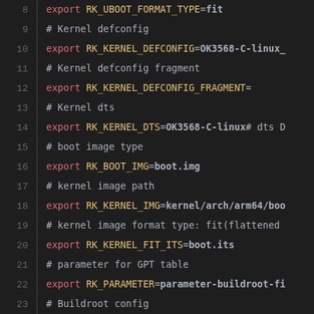[Figure (screenshot): Code editor screenshot showing shell script configuration lines 8-27, with syntax highlighting. Orange/red keywords (export), yellow variable names (RK_*), bold white/gray values, and gray comment text on dark background.]